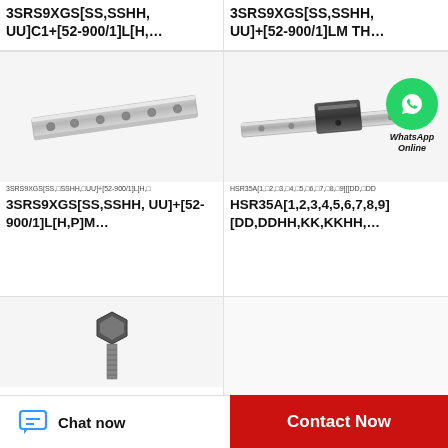3SRS9XGS[SS,SSHH,UU]C1+[52-900/1]L[H,...
3SRS9XGS[SS,SSHH,UU]+[52-900/1]LM TH...
[Figure (photo): Linear guide rail, flat bar type with mounting holes, silver/grey color]
3SRS9XGS[SS,□SSHH,□UU]+[52-900/1]L[H,□
3SRS9XGS[SS,SSHH,UU]+[52-900/1]L[H,P]M...
[Figure (photo): Linear guide rail with carriage block, silver/black color, with WhatsApp Online overlay]
HSR35A[1,□2,□3,□4,□5,□6,□7,□8,□9][[DD,□DD
HSR35A[1,2,3,4,5,6,7,8,9][DD,DDHH,KK,KKHH,...
[Figure (photo): Small bolt/screw component, partially visible]
Chat now
Contact Now